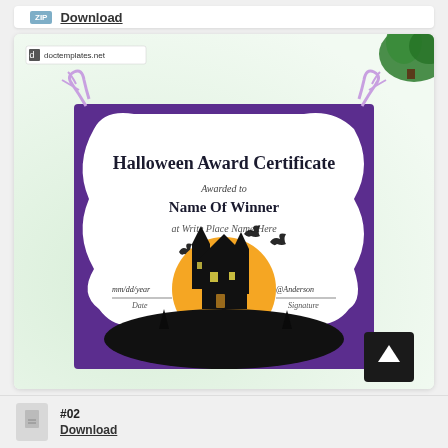ZIP  Download
[Figure (illustration): Halloween Award Certificate template preview showing a purple-bordered certificate with haunted house, orange moon, bats, and spooky trees. Text reads 'Halloween Award Certificate', 'Awarded to', 'Name Of Winner', 'at Write Place Name Here', with Date and Signature lines. Website watermark 'doctemplates.net' in top left. A green plant in top-right corner.]
#02
Download